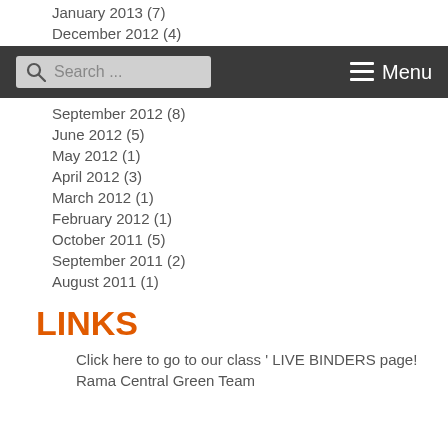January 2013 (7)
December 2012 (4)
[Figure (screenshot): Dark navigation bar with a search box on the left and Menu on the right]
September 2012 (8)
June 2012 (5)
May 2012 (1)
April 2012 (3)
March 2012 (1)
February 2012 (1)
October 2011 (5)
September 2011 (2)
August 2011 (1)
LINKS
Click here to go to our class ' LIVE BINDERS page!
Rama Central Green Team